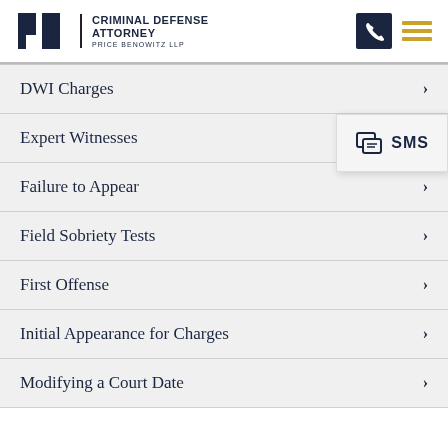Criminal Defense Attorney — Price Benowitz LLP
DWI Charges
Expert Witnesses
Failure to Appear
Field Sobriety Tests
First Offense
Initial Appearance for Charges
Modifying a Court Date